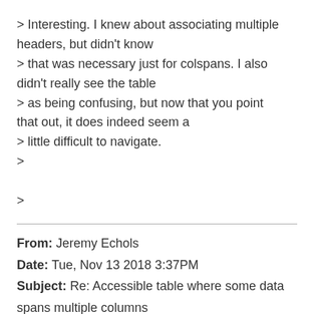> Interesting. I knew about associating multiple headers, but didn't know
> that was necessary just for colspans. I also didn't really see the table
> as being confusing, but now that you point that out, it does indeed seem a
> little difficult to navigate.
>
>
From: Jeremy Echols
Date: Tue, Nov 13 2018 3:37PM
Subject: Re: Accessible table where some data spans multiple columns
← Previous message | No next message
No worries. I understood what you meant